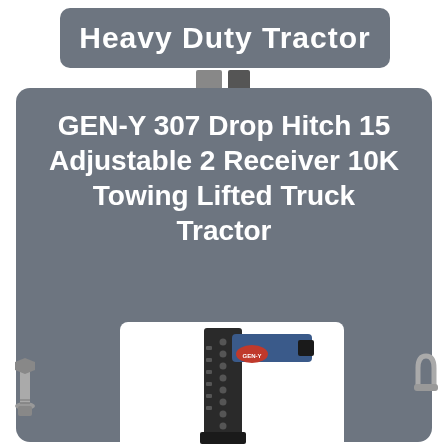Heavy Duty Tractor
GEN-Y 307 Drop Hitch 15 Adjustable 2 Receiver 10K Towing Lifted Truck Tractor
[Figure (photo): GEN-Y 307 drop hitch product photo showing an L-shaped adjustable hitch receiver in black with a red GEN-Y logo label, mounted vertically to show the perforated shank and horizontal receiver tube]